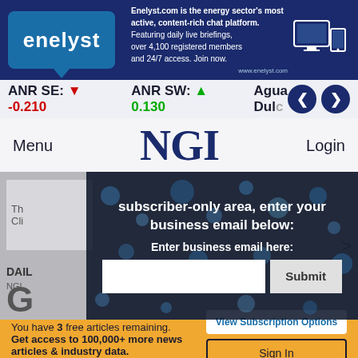[Figure (logo): Enelyst logo with blue background and speech bubble triangle, next to banner text about enelyst.com being the energy sector's most active content-rich chat platform]
ANR SE: -0.210  ANR SW: +0.130  Agua Dul...
Menu
NGI
Login
subscriber-only area, enter your business email below:
Enter business email here:
Submit
Thi... Cli...
DAIL... NGI...
You have 3 free articles remaining. Get access to 100,000+ more news articles & industry data.
View Subscription Options
Sign In